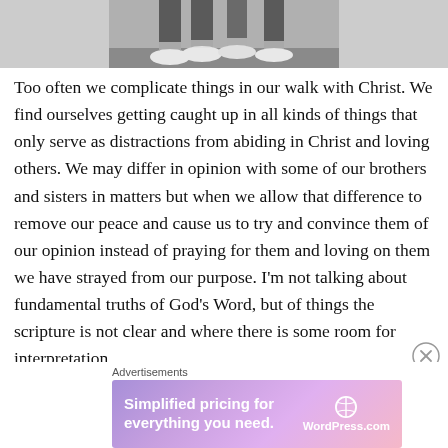[Figure (photo): Black and white photo showing legs and feet of people walking, wearing white sneakers/shoes, cropped to show only the lower portion of the image.]
Too often we complicate things in our walk with Christ. We find ourselves getting caught up in all kinds of things that only serve as distractions from abiding in Christ and loving others. We may differ in opinion with some of our brothers and sisters in matters but when we allow that difference to remove our peace and cause us to try and convince them of our opinion instead of praying for them and loving on them we have strayed from our purpose. I'm not talking about fundamental truths of God's Word, but of things the scripture is not clear and where there is some room for interpretation.
Advertisements
[Figure (screenshot): WordPress.com advertisement banner with gradient purple-pink background. Text reads 'Simplified pricing for everything you need.' with WordPress.com logo on the right.]